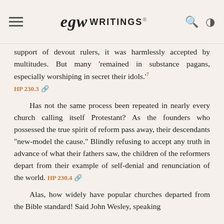EGW WRITINGS
support of devout rulers, it was harmlessly accepted by multitudes. But many 'remained in substance pagans, especially worshiping in secret their idols.'⁽⁷⁾ HP 230.3
Has not the same process been repeated in nearly every church calling itself Protestant? As the founders who possessed the true spirit of reform pass away, their descendants "new-model the cause." Blindly refusing to accept any truth in advance of what their fathers saw, the children of the reformers depart from their example of self-denial and renunciation of the world. HP 230.4
Alas, how widely have popular churches departed from the Bible standard! Said John Wesley, speaking